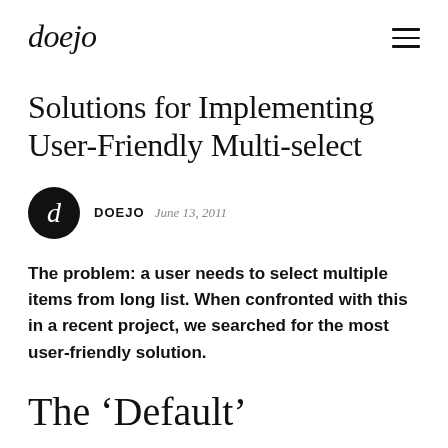doejo
Solutions for Implementing User-Friendly Multi-select
DOEJO  June 13, 2011
The problem: a user needs to select multiple items from long list. When confronted with this in a recent project, we searched for the most user-friendly solution.
The ‘Default’